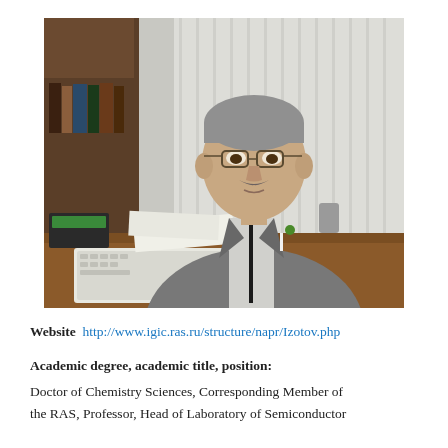[Figure (photo): A middle-aged to elderly man with gray hair and a mustache, wearing glasses and a gray blazer, sitting at a desk with a keyboard, papers, and office equipment. Bookshelves and vertical window blinds visible in the background.]
Website  http://www.igic.ras.ru/structure/napr/Izotov.php
Academic degree, academic title, position:
Doctor of Chemistry Sciences, Corresponding Member of the RAS, Professor, Head of Laboratory of Semiconductor